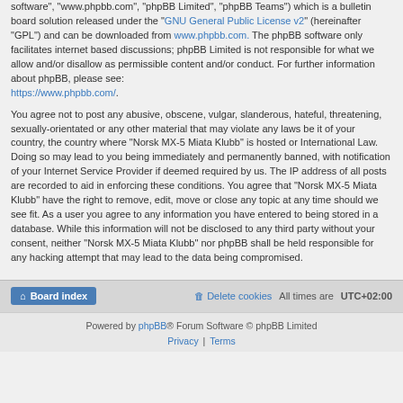software", "www.phpbb.com", "phpBB Limited", "phpBB Teams") which is a bulletin board solution released under the "GNU General Public License v2" (hereinafter "GPL") and can be downloaded from www.phpbb.com. The phpBB software only facilitates internet based discussions; phpBB Limited is not responsible for what we allow and/or disallow as permissible content and/or conduct. For further information about phpBB, please see: https://www.phpbb.com/.
You agree not to post any abusive, obscene, vulgar, slanderous, hateful, threatening, sexually-orientated or any other material that may violate any laws be it of your country, the country where "Norsk MX-5 Miata Klubb" is hosted or International Law. Doing so may lead to you being immediately and permanently banned, with notification of your Internet Service Provider if deemed required by us. The IP address of all posts are recorded to aid in enforcing these conditions. You agree that "Norsk MX-5 Miata Klubb" have the right to remove, edit, move or close any topic at any time should we see fit. As a user you agree to any information you have entered to being stored in a database. While this information will not be disclosed to any third party without your consent, neither "Norsk MX-5 Miata Klubb" nor phpBB shall be held responsible for any hacking attempt that may lead to the data being compromised.
Board index | Delete cookies | All times are UTC+02:00
Powered by phpBB® Forum Software © phpBB Limited | Privacy | Terms